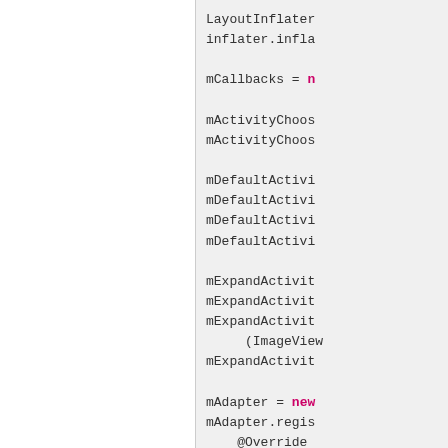LayoutInflater inflater.infla mCallbacks = n mActivityChoos mActivityChoos mDefaultActivi mDefaultActivi mDefaultActivi mDefaultActivi mExpandActivit mExpandActivit mExpandActivit (ImageView mExpandActivit mAdapter = new mAdapter.regis @Override public voi super